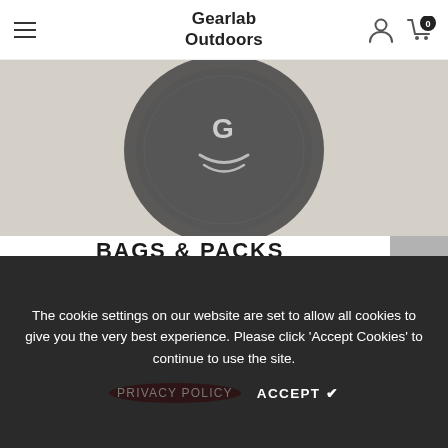Gearlab Outdoors
[Figure (photo): Close-up photo of a Gearlab Outdoors bag/pack on a light gray background, showing the GO logo on the product.]
BAGS & PACKS
4 PRODUCTS
SHOP NOW
The cookie settings on our website are set to allow all cookies to give you the very best experience. Please click 'Accept Cookies' to continue to use the site.
PRIVACY POLICY   ACCEPT ✔